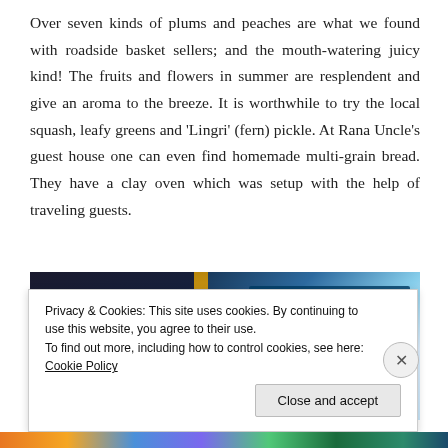Over seven kinds of plums and peaches are what we found with roadside basket sellers; and the mouth-watering juicy kind! The fruits and flowers in summer are resplendent and give an aroma to the breeze. It is worthwhile to try the local squash, leafy greens and 'Lingri' (fern) pickle. At Rana Uncle's guest house one can even find homemade multi-grain bread. They have a clay oven which was setup with the help of traveling guests.
[Figure (photo): Photo showing books or publications including one titled 'Celebrating Forests' with a sky/clouds image visible, alongside other dark-covered books, with a woven/rope divider element.]
Privacy & Cookies: This site uses cookies. By continuing to use this website, you agree to their use.
To find out more, including how to control cookies, see here: Cookie Policy